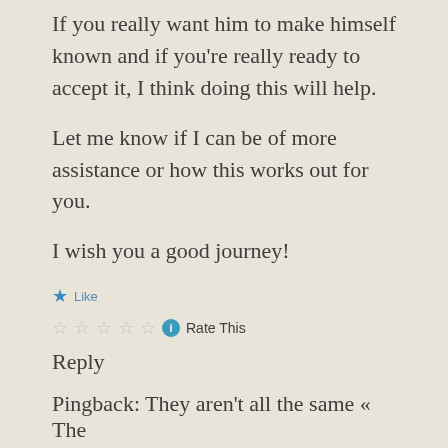If you really want him to make himself known and if you're really ready to accept it, I think doing this will help.
Let me know if I can be of more assistance or how this works out for you.
I wish you a good journey!
★ Like
☆☆☆☆☆ ℹ Rate This
Reply
Pingback: They aren't all the same « The